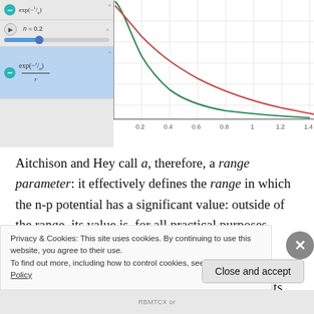[Figure (screenshot): GeoGebra or similar app panel showing exponential decay formulas and a graph of exp(-r/a)/r curves. Left sidebar shows formula exp(-1/a) with a slider for n=0.2, and a second row with formula exp(-r/a)/r. Right panel shows a coordinate graph with green and red exponential decay curves plotted, x-axis from 0 to 1.4, with gridlines.]
Aitchison and Hey call a, therefore, a range parameter: it effectively defines the range in which the n-p potential has a significant value: outside of the range, its value is, for all practical purposes, (close to) zero. Experimentally, this range was established as being more or less equal to r ≤ 2 fm. Needless to say, while this range factor may do its job, it's obvious Yukawa's
Privacy & Cookies: This site uses cookies. By continuing to use this website, you agree to their use.
To find out more, including how to control cookies, see here: Cookie Policy
RBMTCX or